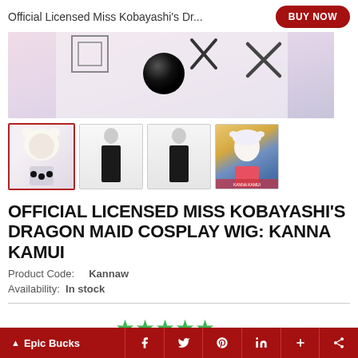Official Licensed Miss Kobayashi's Dr...
[Figure (photo): Main product image showing a cosplay wig with black ball decoration on a light purple/pink background]
[Figure (photo): Thumbnail strip with 4 product images: person wearing white cat-ear wig with black accessories (selected), full body in black outfit front view, full body in black outfit back view, anime illustration of Kanna Kamui character]
OFFICIAL LICENSED MISS KOBAYASHI'S DRAGON MAID COSPLAY WIG: KANNA KAMUI
Product Code: Kannaw
Availability: In stock
[Figure (other): 5 green star rating icons]
(1 Review)
Epic Bucks — Social share buttons (Facebook, Twitter, Pinterest, LinkedIn, plus)